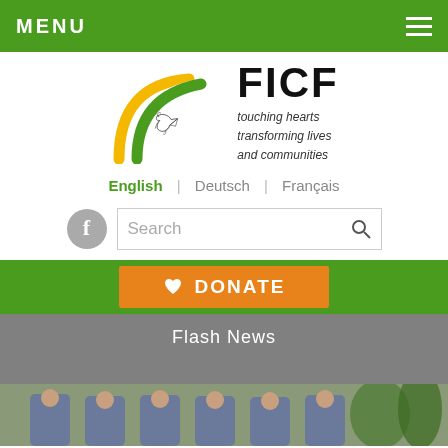MENU
[Figure (logo): FICF logo with rainbow arcs and dove. Text: FICF, touching hearts transforming lives and communities]
English | Deutsch | Français
[Figure (screenshot): Facebook icon and search bar with magnifying glass icon]
♥ DONATE
Flash News
[Figure (photo): Group of school girls smiling outdoors with plants in background]